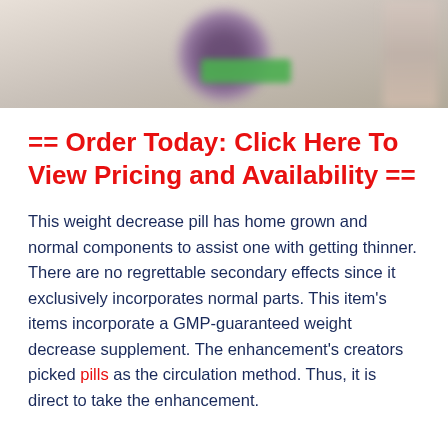[Figure (photo): Blurred photo of a person, background appears to show a health/wellness context with a green button element visible]
== Order Today: Click Here To View Pricing and Availability ==
This weight decrease pill has home grown and normal components to assist one with getting thinner. There are no regrettable secondary effects since it exclusively incorporates normal parts. This item's items incorporate a GMP-guaranteed weight decrease supplement. The enhancement's creators picked pills as the circulation method. Thus, it is direct to take the enhancement.